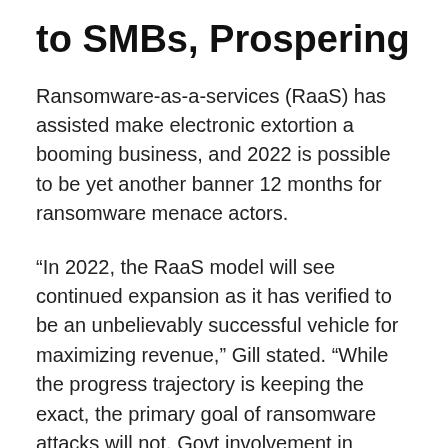to SMBs, Prospering
Ransomware-as-a-services (RaaS) has assisted make electronic extortion a booming business, and 2022 is possible to be yet another banner 12 months for ransomware menace actors.
“In 2022, the RaaS model will see continued expansion as it has verified to be an unbelievably successful vehicle for maximizing revenue,” Gill stated. “While the progress trajectory is keeping the exact, the primary goal of ransomware attacks will not. Govt involvement in defense of critical infrastructure will motivate ransomware teams to concentrate on small and medium